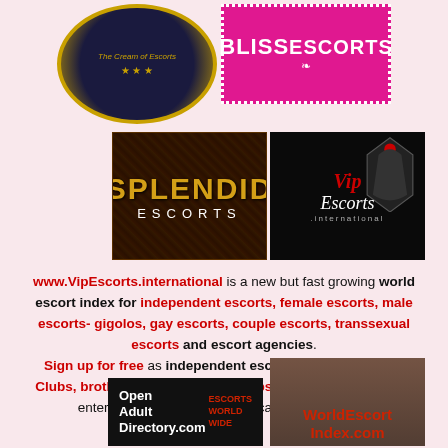[Figure (logo): Cream of escorts circular logo, dark blue/navy with gold border]
[Figure (logo): Bliss Escorts logo, pink background with white text and pearl border]
[Figure (logo): Splendid Escorts logo, dark ornate background with gold text]
[Figure (logo): Vip Escorts .international logo, black background with red and white script text]
www.VipEscorts.international is a new but fast growing world escort index for independent escorts, female escorts, male escorts- gigolos, gay escorts, couple escorts, transsexual escorts and escort agencies. Sign up for free as independent escort or escort agency. Clubs, brothels, cabarets, strip clubs, chalet's or other adult entertainment establishments can also advertise.
[Figure (logo): Open Adult Directory.com logo, black background, white and red text]
[Figure (logo): WorldEscortIndex.com logo, light background with red text]